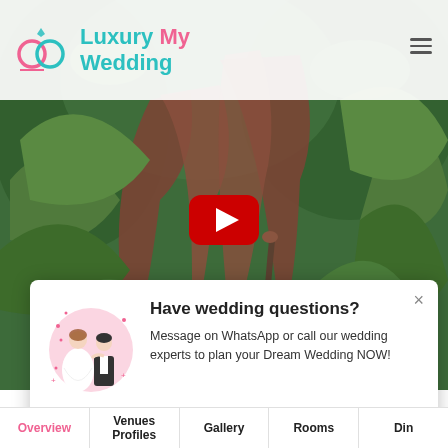[Figure (logo): Luxury My Wedding logo with two interlocked rings (pink and teal) and text 'Luxury My Wedding' in teal and pink]
[Figure (photo): Background photo of green tropical leaves/foliage with reddish-brown large leaves in the center]
[Figure (screenshot): YouTube play button (red rounded rectangle with white triangle) overlaid on the background image]
[Figure (infographic): Popup modal with wedding couple illustration, title 'Have wedding questions?', message, phone/WhatsApp buttons, and phone number +91 8306 010 091]
Have wedding questions?
Message on WhatsApp or call our wedding experts to plan your Dream Wedding NOW!
+91 8306 010 091
Overview | Venues Profiles | Gallery | Rooms | Din